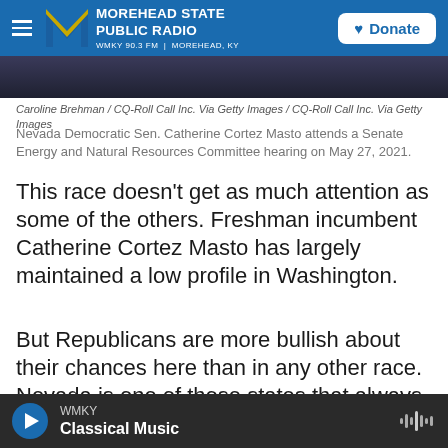MOREHEAD STATE PUBLIC RADIO | WMKY 90.3 FM | MOREHEAD, KY | Donate
[Figure (photo): Partial photo of person in blue, dark background with bokeh]
Caroline Brehman / CQ-Roll Call Inc. Via Getty Images / CQ-Roll Call Inc. Via Getty Images
Nevada Democratic Sen. Catherine Cortez Masto attends a Senate Energy and Natural Resources Committee hearing on May 27, 2021.
This race doesn't get as much attention as some of the others. Freshman incumbent Catherine Cortez Masto has largely maintained a low profile in Washington.
But Republicans are more bullish about their chances here than in any other race. Nevada is one of those states that always seems to be close —
WMKY Classical Music